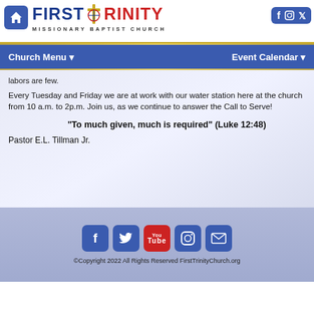[Figure (logo): First Trinity Missionary Baptist Church logo with cross and church name]
Church Menu  |  Event Calendar
labors are few.
Every Tuesday and Friday we are at work with our water station here at the church from 10 a.m. to 2p.m. Join us, as we continue to answer the Call to Serve!
“To much given, much is required” (Luke 12:48)
Pastor E.L. Tillman Jr.
©Copyright 2022 All Rights Reserved FirstTrinityChurch.org